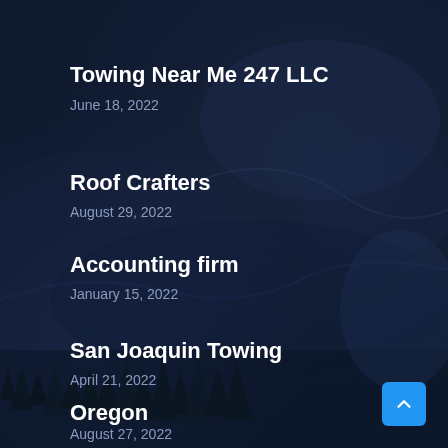[Figure (photo): Dark aerial/satellite view of forested mountainous terrain at night or dusk with deep navy blue tones, pine trees visible at the bottom.]
Towing Near Me 247 LLC
June 18, 2022
Roof Crafters
August 29, 2022
Accounting firm
January 15, 2022
San Joaquin Towing
April 21, 2022
Oregon
August 27, 2022